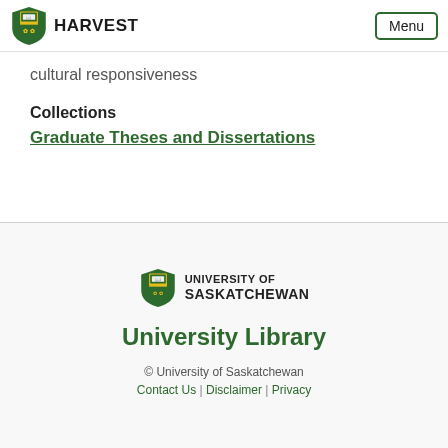HARVEST — Menu
employees
acculturation
immigrants
cultural responsiveness
Collections
Graduate Theses and Dissertations
[Figure (logo): University of Saskatchewan shield logo with open book and wheat sheaves on green background]
University Library
© University of Saskatchewan
Contact Us | Disclaimer | Privacy